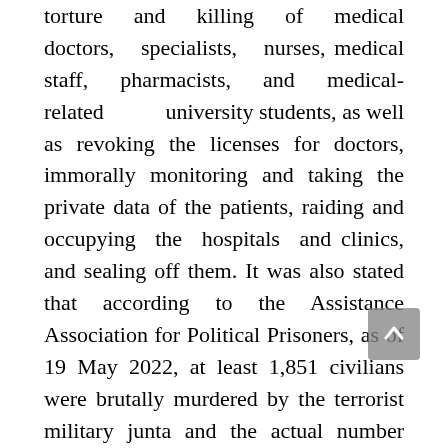torture and killing of medical doctors, specialists, nurses, medical staff, pharmacists, and medical-related university students, as well as revoking the licenses for doctors, immorally monitoring and taking the private data of the patients, raiding and occupying the hospitals and clinics, and sealing off them. It was also stated that according to the Assistance Association for Political Prisoners, as of 19 May 2022, at least 1,851 civilians were brutally murdered by the terrorist military junta and the actual number could be higher. The Ministry of Health of the National Unity Government, through the